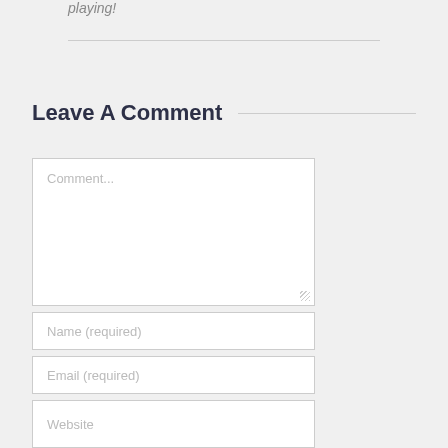playing!
Leave A Comment
Comment...
Name (required)
Email (required)
Website